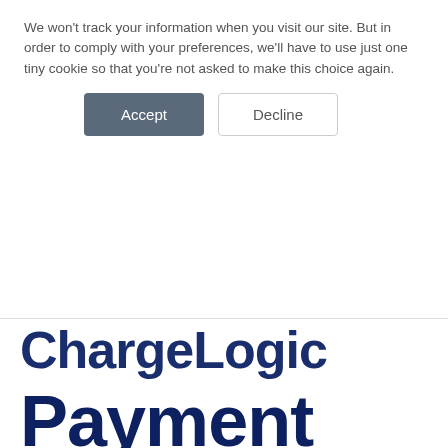We won't track your information when you visit our site. But in order to comply with your preferences, we'll have to use just one tiny cookie so that you're not asked to make this choice again.
Accept
Decline
ChargeLogic
Payment Portal Gives Businesses More Ways